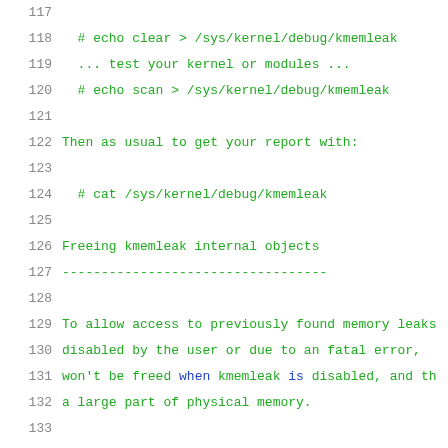117
118    # echo clear > /sys/kernel/debug/kmemleak
119    ... test your kernel or modules ...
120    # echo scan > /sys/kernel/debug/kmemleak
121
122  Then as usual to get your report with:
123
124    # cat /sys/kernel/debug/kmemleak
125
126  Freeing kmemleak internal objects
127  ----------------------------------
128
129  To allow access to previously found memory leaks
130  disabled by the user or due to an fatal error,
131  won't be freed when kmemleak is disabled, and th
132  a large part of physical memory.
133
134  In this situation, you may reclaim memory with:
135
136    # echo clear > /sys/kernel/debug/kmemleak
137